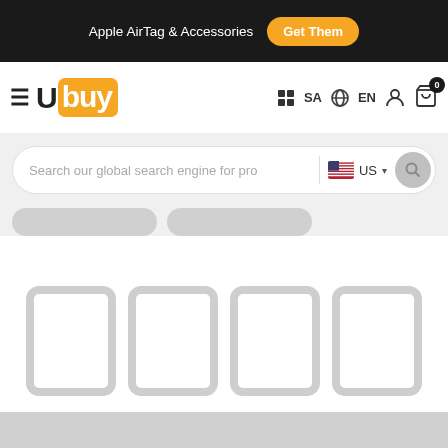Apple AirTag & Accessories  Get Them
[Figure (logo): Ubuy logo with orange background on 'buy' portion, hamburger menu icon, SA country selector, EN language selector, person icon, cart icon with badge 0]
[Figure (screenshot): Search bar with placeholder text 'Search our global search engine for pro', US flag country dropdown, and search button]
[Figure (screenshot): Loading skeleton placeholders: two tab skeletons and four product card skeleton boxes]
[Figure (screenshot): Footer skeleton grey bar at bottom of page]